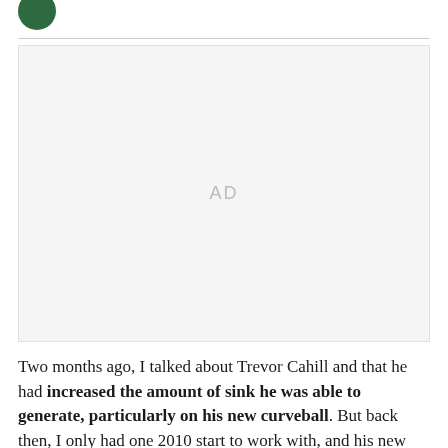[Figure (logo): Green circular logo in the top-left header area]
[Figure (other): Advertisement placeholder box with 'AD' text centered]
Two months ago, I talked about Trevor Cahill and that he had increased the amount of sink he was able to generate, particularly on his new curveball. But back then, I only had one 2010 start to work with, and his new and improved pitches didn't exactly translate